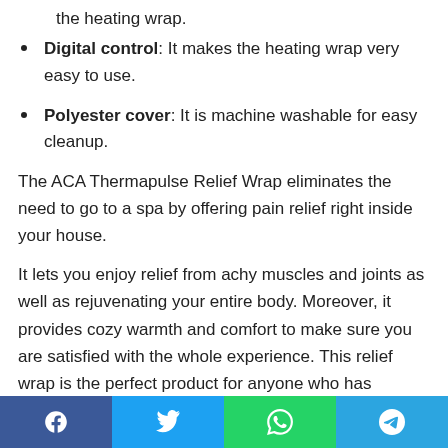the heating wrap.
Digital control: It makes the heating wrap very easy to use.
Polyester cover: It is machine washable for easy cleanup.
The ACA Thermapulse Relief Wrap eliminates the need to go to a spa by offering pain relief right inside your house.
It lets you enjoy relief from achy muscles and joints as well as rejuvenating your entire body. Moreover, it provides cozy warmth and comfort to make sure you are satisfied with the whole experience. This relief wrap is the perfect product for anyone who has troubles getting rid of muscles pain and